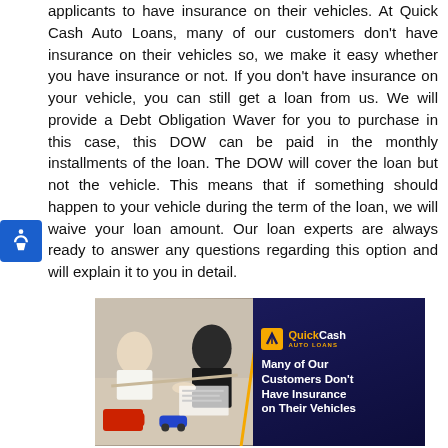applicants to have insurance on their vehicles. At Quick Cash Auto Loans, many of our customers don't have insurance on their vehicles so, we make it easy whether you have insurance or not. If you don't have insurance on your vehicle, you can still get a loan from us. We will provide a Debt Obligation Waver for you to purchase in this case, this DOW can be paid in the monthly installments of the loan. The DOW will cover the loan but not the vehicle. This means that if something should happen to your vehicle during the term of the loan, we will waive your loan amount. Our loan experts are always ready to answer any questions regarding this option and will explain it to you in detail.
[Figure (illustration): Quick Cash Auto Loans advertisement banner. Left half shows a photo of people at a desk with toy cars. Right half has dark blue background with Quick Cash Auto Loans logo and text: Many of Our Customers Don't Have Insurance on Their Vehicles.]